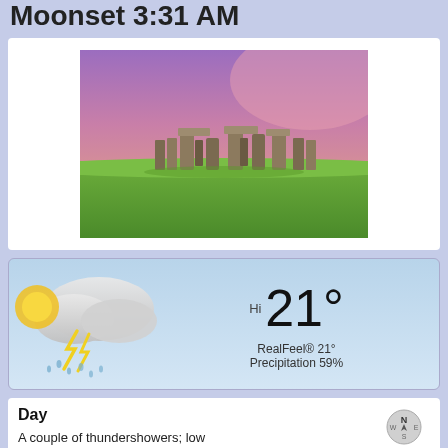Moonset 3:31 AM
[Figure (photo): Stonehenge monument at sunset/dusk with pink and purple sky, green grass in foreground]
[Figure (infographic): Weather widget showing thunderstorm icon on left, Hi 21° temperature, RealFeel® 21°, Precipitation 59%]
Day
A couple of thundershowers; low